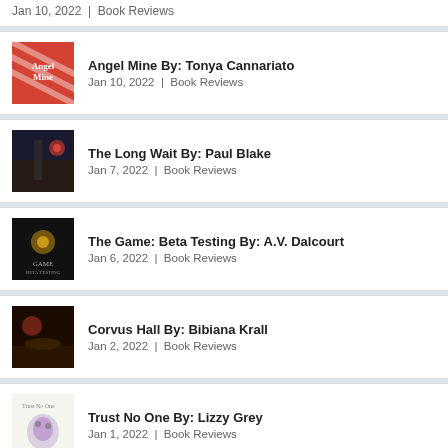Jan 10, 2022 | Book Reviews
Angel Mine By: Tonya Cannariato — Jan 10, 2022 | Book Reviews
The Long Wait By: Paul Blake — Jan 7, 2022 | Book Reviews
The Game: Beta Testing By: A.V. Dalcourt — Jan 6, 2022 | Book Reviews
Corvus Hall By: Bibiana Krall — Jan 2, 2022 | Book Reviews
Trust No One By: Lizzy Grey — Jan 1, 2022 | Book Reviews